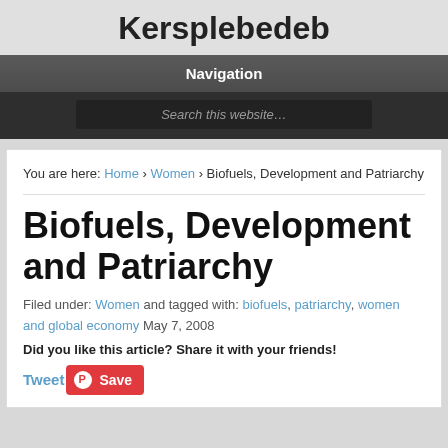Kersplebedeb
Navigation
Search this website…
You are here: Home › Women › Biofuels, Development and Patriarchy
Biofuels, Development and Patriarchy
Filed under: Women and tagged with: biofuels, patriarchy, women and global economy May 7, 2008
Did you like this article? Share it with your friends!
Tweet Save